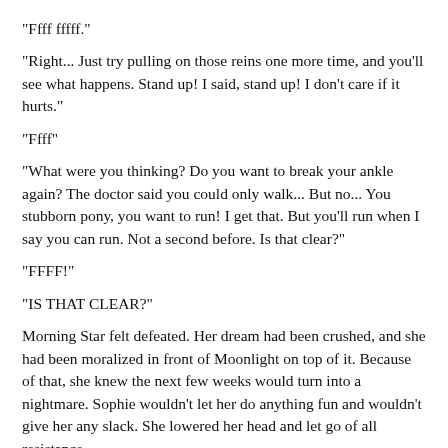"Ffff fffff."
"Right... Just try pulling on those reins one more time, and you'll see what happens. Stand up! I said, stand up! I don't care if it hurts."
"Ffff"
"What were you thinking? Do you want to break your ankle again? The doctor said you could only walk... But no... You stubborn pony, you want to run! I get that. But you'll run when I say you can run. Not a second before. Is that clear?"
"FFFF!"
"IS THAT CLEAR?"
Morning Star felt defeated. Her dream had been crushed, and she had been moralized in front of Moonlight on top of it. Because of that, she knew the next few weeks would turn into a nightmare. Sophie wouldn't let her do anything fun and wouldn't give her any slack. She lowered her head and let go of all resistance.
"Good. I'm glad we have an understanding. Now follow me. I still want you to watch Moonlight. She was on a roll, so I hope you didn't break her good mood with your shitty attitude. What a good